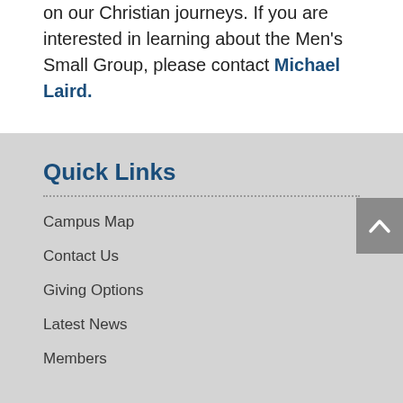on our Christian journeys. If you are interested in learning about the Men's Small Group, please contact Michael Laird.
Quick Links
Campus Map
Contact Us
Giving Options
Latest News
Members